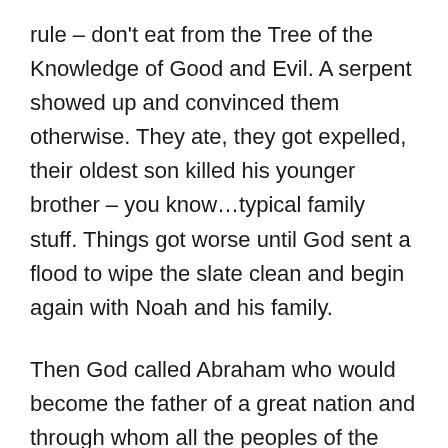rule – don't eat from the Tree of the Knowledge of Good and Evil. A serpent showed up and convinced them otherwise. They ate, they got expelled, their oldest son killed his younger brother – you know…typical family stuff. Things got worse until God sent a flood to wipe the slate clean and begin again with Noah and his family.
Then God called Abraham who would become the father of a great nation and through whom all the peoples of the world would be blessed. Miraculously Abraham and Sarah were able to have a baby boy in their old age. They named him Isaac. Isaac had twin sons named Jacob and Esau. Jacob tricked Esau out of his blessing and birthright – you know…typical family